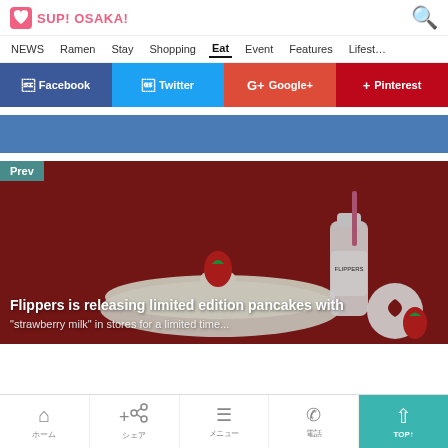SUP! OSAKA!
NEWS  Ramen  Stay  Shopping  Eat  Event  Features  Lifestyle
[Figure (screenshot): Social sharing buttons row: Facebook (blue), Twitter (cyan), Google+ (red-orange), Pinterest (red)]
[Figure (other): Blue banner advertisement strip]
[Figure (photo): Article card with dark red background showing pancake with strawberry on top, milk bottle, and small round logo. Label 'Prev' in top-left teal tag.]
Flippers is releasing limited edition pancakes with
ホーム  シェア  メニュー  電話  TOP↑